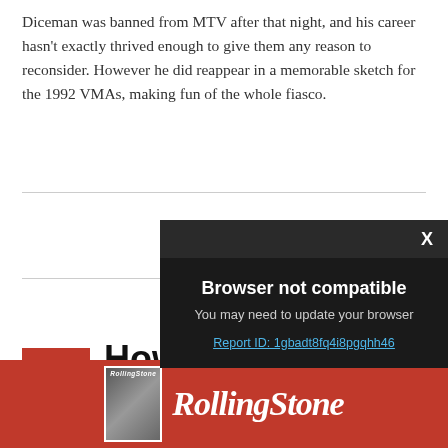Diceman was banned from MTV after that night, and his career hasn't exactly thrived enough to give them any reason to reconsider. However he did reappear in a memorable sketch for the 1992 VMAs, making fun of the whole fiasco.
[Figure (screenshot): Browser not compatible modal overlay on dark background with X close button. Text reads: 'Browser not compatible', 'You may need to update your browser', 'Report ID: 1gbadt8fq4i8pgqhh46']
3
How Fart...
[Figure (logo): Rolling Stone advertisement banner in red with Rolling Stone logo text and magazine thumbnail]